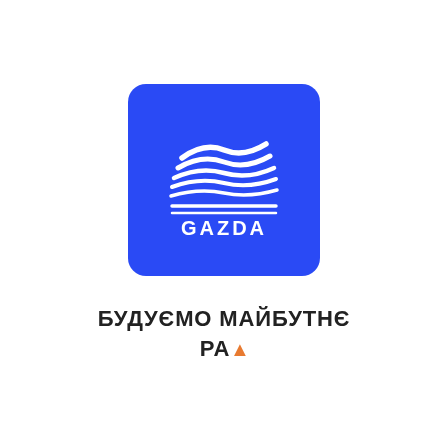[Figure (logo): GAZDA company logo: blue rounded square with white layered wave/building lines graphic and 'GAZDA' text in white below the graphic]
БУДУЄМО МАЙБУТНЄ РАЗОМ